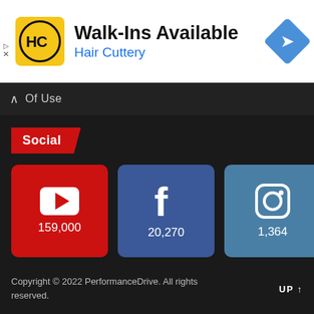[Figure (infographic): Hair Cuttery ad banner: HC logo (yellow/black circle), Walk-Ins Available title, Hair Cuttery brand name in blue, navigation diamond icon, ad controls (play/close)]
Of Use
Social
[Figure (infographic): YouTube icon with subscriber count 159,000, Facebook icon with follower count 20,270, Instagram icon with follower count 1,364]
Copyright © 2022 PerformanceDrive. All rights reserved.